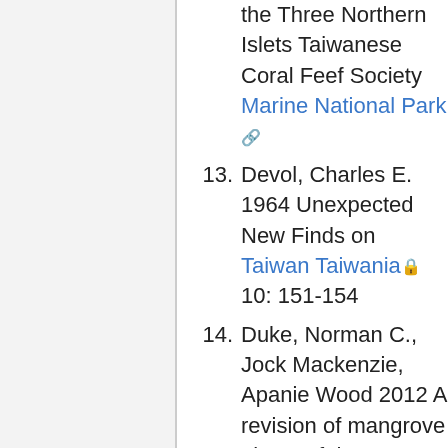the Three Northern Islets Taiwanese Coral Feef Society Marine National Park [ext link]
13. Devol, Charles E. 1964 Unexpected New Finds on Taiwan Taiwania [lock] 10: 151-154
14. Duke, Norman C., Jock Mackenzie, Apanie Wood 2012 A revision of mangrove plants of the Solomon Islands, Vanuatu, Fiji, Tonga and Samoa Tropical Water & Aquatic Ecosystem Research [lock]